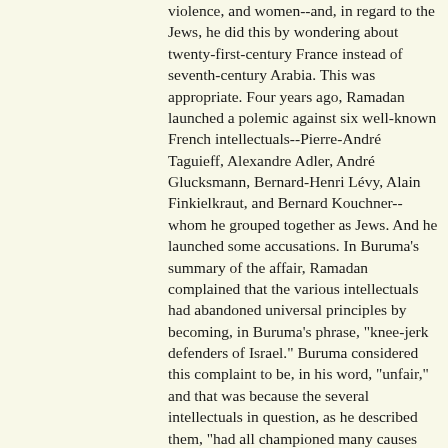violence, and women--and, in regard to the Jews, he did this by wondering about twenty-first-century France instead of seventh-century Arabia. This was appropriate. Four years ago, Ramadan launched a polemic against six well-known French intellectuals--Pierre-André Taguieff, Alexandre Adler, André Glucksmann, Bernard-Henri Lévy, Alain Finkielkraut, and Bernard Kouchner--whom he grouped together as Jews. And he launched some accusations. In Buruma's summary of the affair, Ramadan complained that the various intellectuals had abandoned universal principles by becoming, in Buruma's phrase, "knee-jerk defenders of Israel." Buruma considered this complaint to be, in his word, "unfair," and that was because the several intellectuals in question, as he described them, "had all championed many causes other than Israel, including putting a stop to the mass murder of